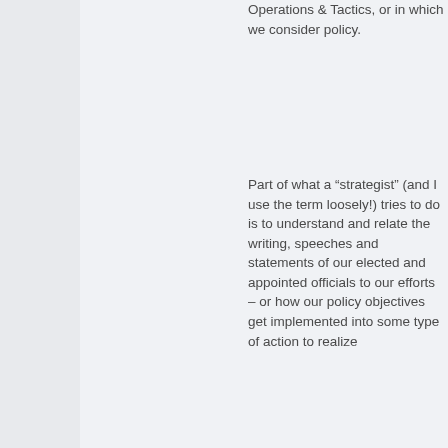Operations & Tactics, or in which we consider policy.
Part of what a “strategist” (and I use the term loosely!) tries to do is to understand and relate the writing, speeches and statements of our elected and appointed officials to our efforts – or how our policy objectives get implemented into some type of action to realize